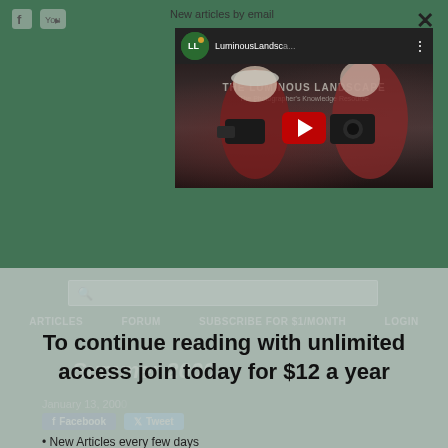New articles by email
[Figure (screenshot): YouTube video thumbnail for LuminousLandscape channel showing photographers taking photos, with red play button overlay. Channel name: LuminousLandscape...]
ARTICLES   FORUM   SUBSCRIBE FOR $1/MONTH   LOGIN
Summer 2000
January 13, 200...
To continue reading with unlimited access join today for $12 a year
New Articles every few days